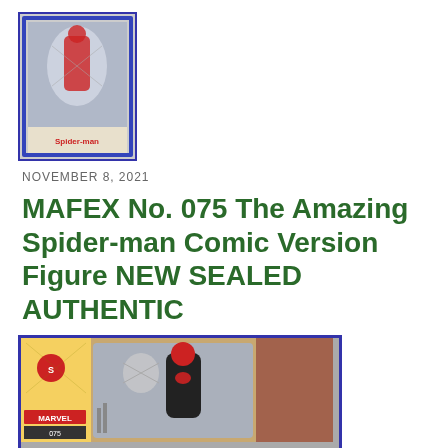[Figure (photo): Small thumbnail image of MAFEX No. 075 The Amazing Spider-man figure in box with blue border]
NOVEMBER 8, 2021
MAFEX No. 075 The Amazing Spider-man Comic Version Figure NEW SEALED AUTHENTIC
[Figure (photo): Large photo of MAFEX No. 075 Amazing Spider-man figure inside open packaging showing figure, accessories, and Marvel branding with blue border]